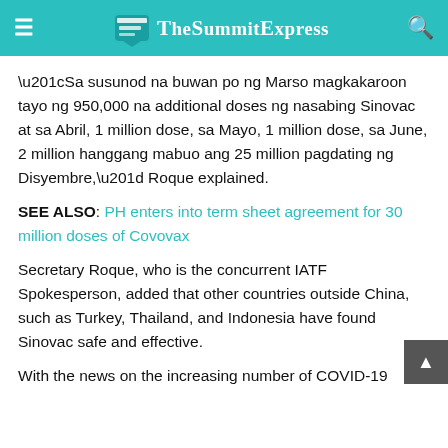TheSummitExpress
“Sa susunod na buwan po ng Marso magkakaroon tayo ng 950,000 na additional doses ng nasabing Sinovac at sa Abril, 1 million dose, sa Mayo, 1 million dose, sa June, 2 million hanggang mabuo ang 25 million pagdating ng Disyembre,” Roque explained.
SEE ALSO: PH enters into term sheet agreement for 30 million doses of Covovax
Secretary Roque, who is the concurrent IATF Spokesperson, added that other countries outside China, such as Turkey, Thailand, and Indonesia have found Sinovac safe and effective.
With the news on the increasing number of COVID-19